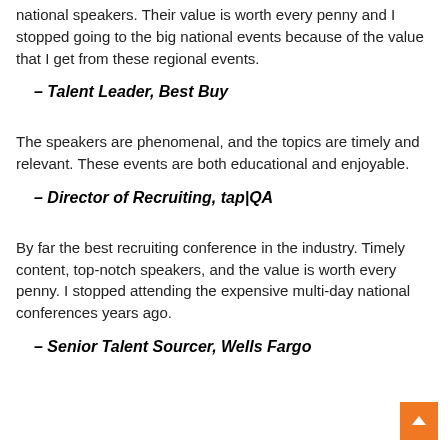national speakers. Their value is worth every penny and I stopped going to the big national events because of the value that I get from these regional events.
– Talent Leader, Best Buy
The speakers are phenomenal, and the topics are timely and relevant. These events are both educational and enjoyable.
– Director of Recruiting, tap|QA
By far the best recruiting conference in the industry. Timely content, top-notch speakers, and the value is worth every penny. I stopped attending the expensive multi-day national conferences years ago.
– Senior Talent Sourcer, Wells Fargo